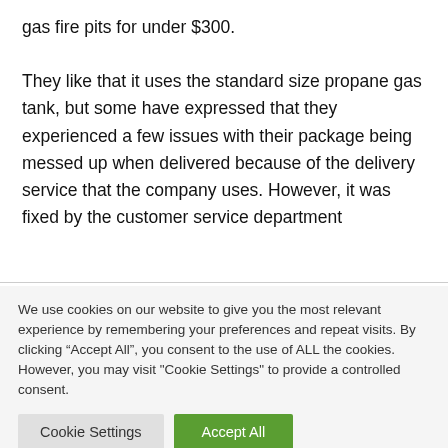gas fire pits for under $300.

They like that it uses the standard size propane gas tank, but some have expressed that they experienced a few issues with their package being messed up when delivered because of the delivery service that the company uses. However, it was fixed by the customer service department
We use cookies on our website to give you the most relevant experience by remembering your preferences and repeat visits. By clicking “Accept All”, you consent to the use of ALL the cookies. However, you may visit "Cookie Settings" to provide a controlled consent.